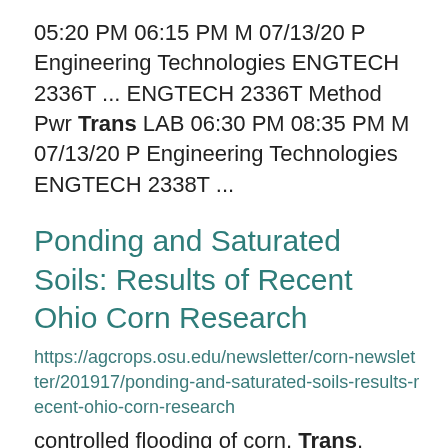05:20 PM 06:15 PM M 07/13/20 P Engineering Technologies ENGTECH 2336T ... ENGTECH 2336T Method Pwr Trans LAB 06:30 PM 08:35 PM M 07/13/20 P Engineering Technologies ENGTECH 2338T ...
Ponding and Saturated Soils: Results of Recent Ohio Corn Research
https://agcrops.osu.edu/newsletter/corn-newsletter/201917/ponding-and-saturated-soils-results-recent-ohio-corn-research
controlled flooding of corn. Trans. ASAE 12:46-47. Weather Corn ...